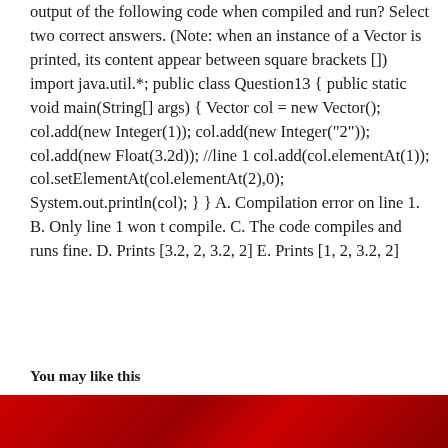output of the following code when compiled and run? Select two correct answers. (Note: when an instance of a Vector is printed, its content appear between square brackets []) import java.util.*; public class Question13 { public static void main(String[] args) { Vector col = new Vector(); col.add(new Integer(1)); col.add(new Integer("2")); col.add(new Float(3.2d)); //line 1 col.add(col.elementAt(1)); col.setElementAt(col.elementAt(2),0); System.out.println(col); } } A. Compilation error on line 1. B. Only line 1 won t compile. C. The code compiles and runs fine. D. Prints [3.2, 2, 3.2, 2] E. Prints [1, 2, 3.2, 2]
You may like this
[Figure (photo): Red image bar at the bottom of the page]